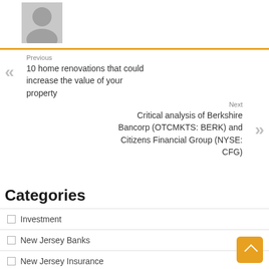[Figure (illustration): Gray avatar/profile placeholder image in upper left, with orange horizontal rule below]
Previous
10 home renovations that could increase the value of your property
Next
Critical analysis of Berkshire Bancorp (OTCMKTS: BERK) and Citizens Financial Group (NYSE: CFG)
Categories
Investment
New Jersey Banks
New Jersey Insurance
New Jersey Loans
New Jersey Mortgages